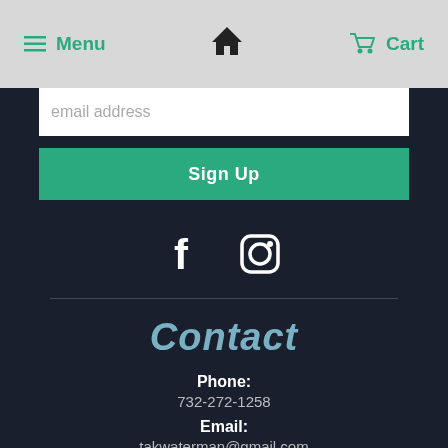Menu  [home icon]  Cart
email address
Sign Up
[Figure (illustration): Facebook and Instagram social media icons in white on dark background]
Contact
Phone: 732-272-1258
Email: takwaterman@gmail.com